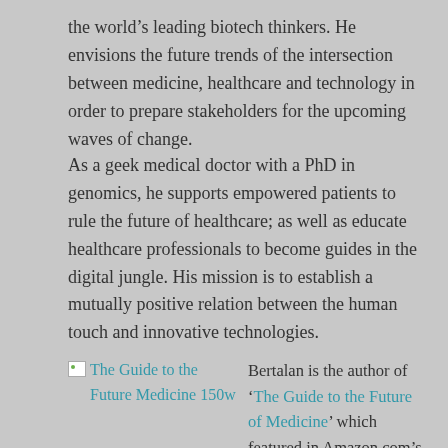the world's leading biotech thinkers. He envisions the future trends of the intersection between medicine, healthcare and technology in order to prepare stakeholders for the upcoming waves of change.
As a geek medical doctor with a PhD in genomics, he supports empowered patients to rule the future of healthcare; as well as educate healthcare professionals to become guides in the digital jungle. His mission is to establish a mutually positive relation between the human touch and innovative technologies.
[Figure (photo): Broken image placeholder for book cover: The Guide to the Future Medicine 150w]
Bertalan is the author of ‘The Guide to the Future of Medicine’ which featured in Amazon.com’s top 100 books.